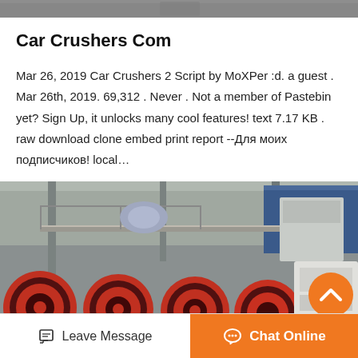[Figure (photo): Partial top strip of a photo, showing machinery or industrial equipment]
Car Crushers Com
Mar 26, 2019 Car Crushers 2 Script by MoXPer :d. a guest . Mar 26th, 2019. 69,312 . Never . Not a member of Pastebin yet? Sign Up, it unlocks many cool features! text 7.17 KB . raw download clone embed print report --Для моих подписчиков! local…
[Figure (photo): Industrial building interior showing large red and gray crusher machine wheels/rollers in a warehouse facility]
Leave Message  Chat Online